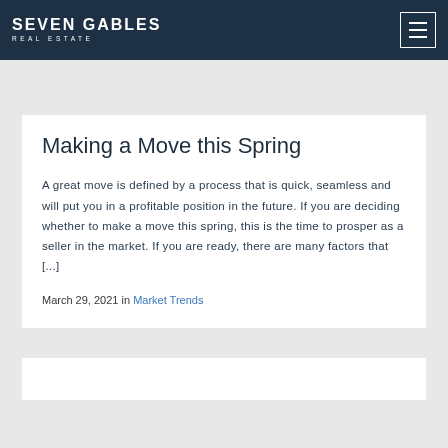SEVEN GABLES REAL ESTATE
Making a Move this Spring
A great move is defined by a process that is quick, seamless and will put you in a profitable position in the future. If you are deciding whether to make a move this spring, this is the time to prosper as a seller in the market. If you are ready, there are many factors that [...]
March 29, 2021 in Market Trends